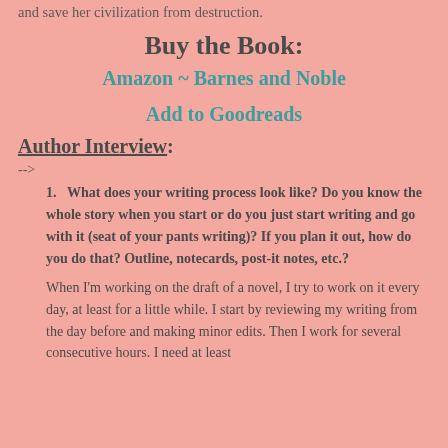and save her civilization from destruction.
Buy the Book:
Amazon  ~  Barnes and Noble
Add to Goodreads
Author Interview:
-->
1. What does your writing process look like? Do you know the whole story when you start or do you just start writing and go with it (seat of your pants writing)? If you plan it out, how do you do that? Outline, notecards, post-it notes, etc.?
When I'm working on the draft of a novel, I try to work on it every day, at least for a little while. I start by reviewing my writing from the day before and making minor edits. Then I work for several consecutive hours. I need at least